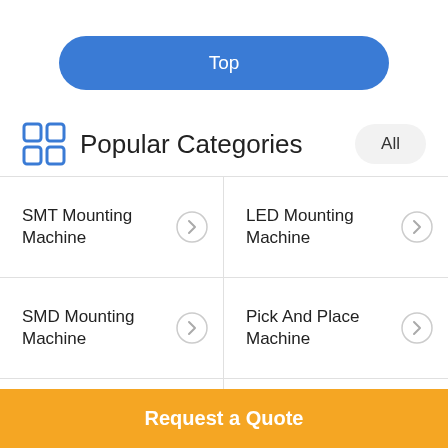[Figure (other): Blue rounded rectangle button labeled 'Top']
Popular Categories
SMT Mounting Machine
LED Mounting Machine
SMD Mounting Machine
Pick And Place Machine
Fastest Pick And Place Machine
PCB Pick And Place Machine
Chip Mounter Machine
LED Making Machine
Request a Quote